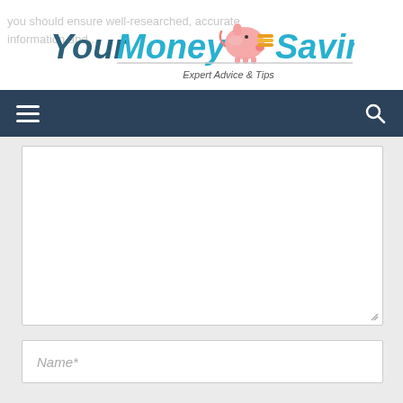[Figure (logo): YourMoneySaving.com logo with pink piggy bank and coins, tagline 'Expert Advice & Tips']
[Figure (screenshot): Dark navy navigation bar with hamburger menu icon on left and search icon on right]
[Figure (screenshot): Large white textarea form field with resize handle in bottom right corner]
[Figure (screenshot): White input field with italic placeholder text 'Name*']
[Figure (screenshot): White input field with italic placeholder text 'Email*']